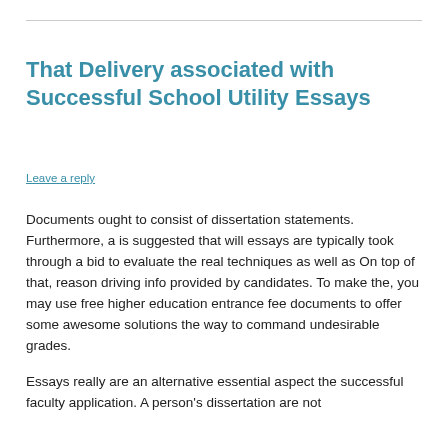That Delivery associated with Successful School Utility Essays
Leave a reply
Documents ought to consist of dissertation statements. Furthermore, a is suggested that will essays are typically took through a bid to evaluate the real techniques as well as On top of that, reason driving info provided by candidates. To make the, you may use free higher education entrance fee documents to offer some awesome solutions the way to command undesirable grades.
Essays really are an alternative essential aspect the successful faculty application. A person's dissertation are not